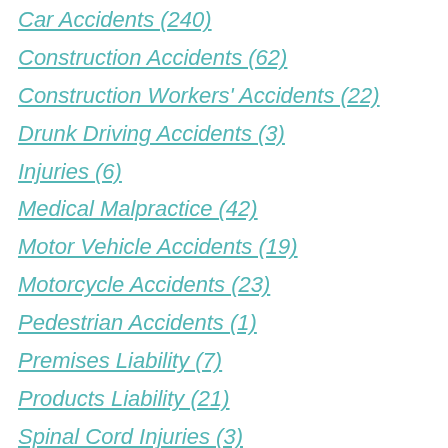Car Accidents (240)
Construction Accidents (62)
Construction Workers' Accidents (22)
Drunk Driving Accidents (3)
Injuries (6)
Medical Malpractice (42)
Motor Vehicle Accidents (19)
Motorcycle Accidents (23)
Pedestrian Accidents (1)
Premises Liability (7)
Products Liability (21)
Spinal Cord Injuries (3)
Truck Accidents (116)
Uncategorized (33)
Workers' Compensation (102)